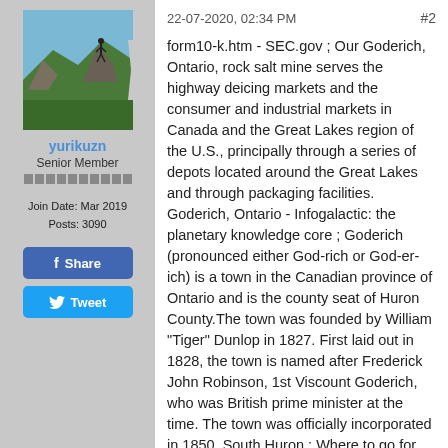[Figure (photo): Avatar photo of user yurikuzn showing a mountainous rocky landscape with a person on a peak]
yurikuzn
Senior Member
Join Date: Mar 2019
Posts: 3090
Share
Tweet
22-07-2020, 02:34 PM
#2
form10-k.htm - SEC.gov ; Our Goderich, Ontario, rock salt mine serves the highway deicing markets and the consumer and industrial markets in Canada and the Great Lakes region of the U.S., principally through a series of depots located around the Great Lakes and through packaging facilities. Goderich, Ontario - Infogalactic: the planetary knowledge core ; Goderich (pronounced either God-rich or God-er-ich) is a town in the Canadian province of Ontario and is the county seat of Huron County.The town was founded by William "Tiger" Dunlop in 1827. First laid out in 1828, the town is named after Frederick John Robinson, 1st Viscount Goderich, who was British prime minister at the time. The town was officially incorporated in 1850. South Huron ; Where to go for road condition/closure Information. Provincial highway conditions, including #21 and #4, are provided by the Ministry of Transportation at www.511on.ca, on Twitter @511Ontario and over the phone by dialing 5-1-1. Road closures and ro...